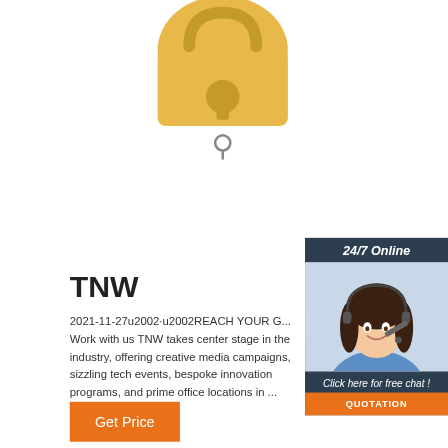[Figure (photo): Partial view of a yellow padlock with a key inserted, shown from above on a white background]
[Figure (infographic): Customer support chat widget with dark navy background. Shows '24/7 Online' header, photo of smiling woman with headset, 'Click here for free chat!' text, and orange QUOTATION button]
TNW
2021-11-27u2002·u2002REACH YOUR G... Work with us TNW takes center stage in the industry, offering creative media campaigns, sizzling tech events, bespoke innovation programs, and prime office locations in ...
Get Price